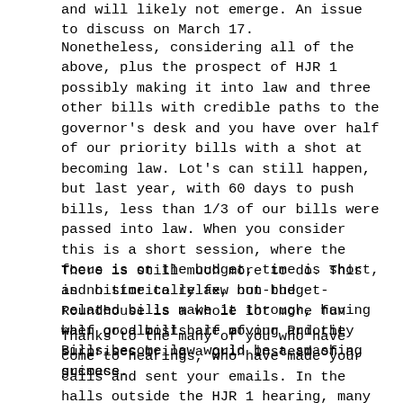and will likely not emerge. An issue to discuss on March 17.
Nonetheless, considering all of the above, plus the prospect of HJR 1 possibly making it into law and three other bills with credible paths to the governor's desk and you have over half of our priority bills with a shot at becoming law. Lot's can still happen, but last year, with 60 days to push bills, less than 1/3 of our bills were passed into law. When you consider this is a short session, where the focus is on the budget, time is short, and historically few non-budget-related bills make it through, having half or almost half of our Priority Bills become law would be a smashing success.
There is still much more to do. This is no time to relax, but the Roundhouse is a whole lot more fun when good bills are moving and the surprises bring a grin instead of a grimace.
Thanks to the many of you who have come to hearings, who have made your calls and sent your emails. In the halls outside the HJR 1 hearing, many advocates were saying that with this being an election year, the pressure from advocates and volunteers is making a big difference. So, if you haven't